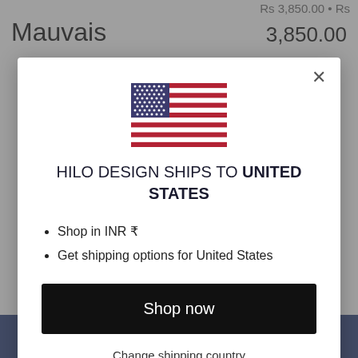Mauvais   3,850.00
[Figure (illustration): US flag emoji/icon centered in modal]
HILO DESIGN SHIPS TO UNITED STATES
Shop in INR ₹
Get shipping options for United States
Shop now
Change shipping country
ADD TO CART